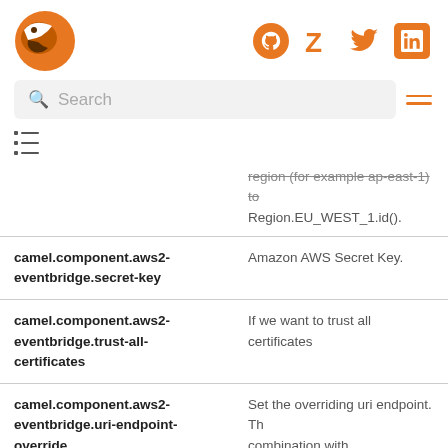Logo and social icons (GitHub, Z, Twitter, LinkedIn)
Search
[Figure (other): List/TOC icon]
| Property | Description |
| --- | --- |
|  | region (for example ap-east-1) to Region.EU_WEST_1.id(). |
| camel.component.aws2-eventbridge.secret-key | Amazon AWS Secret Key. |
| camel.component.aws2-eventbridge.trust-all-certificates | If we want to trust all certificates |
| camel.component.aws2-eventbridge.uri-endpoint-override | Set the overriding uri endpoint. Th combination with overrideEndpoi |